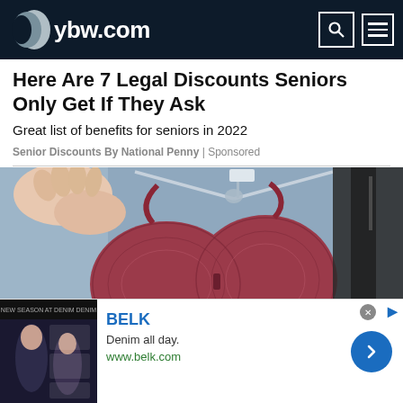ybw.com
Here Are 7 Legal Discounts Seniors Only Get If They Ask
Great list of benefits for seniors in 2022
Senior Discounts By National Penny | Sponsored
[Figure (photo): Person holding a dark pink/maroon lace bra on a hanger in a clothing store with other garments in the background]
[Figure (photo): Advertisement banner for BELK showing a fashion model, with text: BELK, Denim all day., www.belk.com]